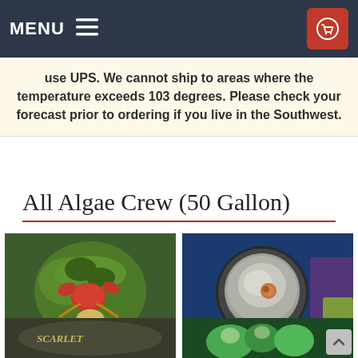MENU  [hamburger icon]  [cart icon]
use UPS. We cannot ship to areas where the temperature exceeds 103 degrees. Please check your forecast prior to ordering if you live in the Southwest.
All Algae Crew (50 Gallon)
[Figure (photo): A red crab sitting on green algae and white gravel in an aquarium]
[Figure (photo): A large snail or turbo snail shell viewed from the front against a blue aquarium background]
[Figure (photo): Close-up of a sea cucumber or similar marine invertebrate with textured skin]
[Figure (photo): Green caulerpa or similar green algae/coral frag in an aquarium]